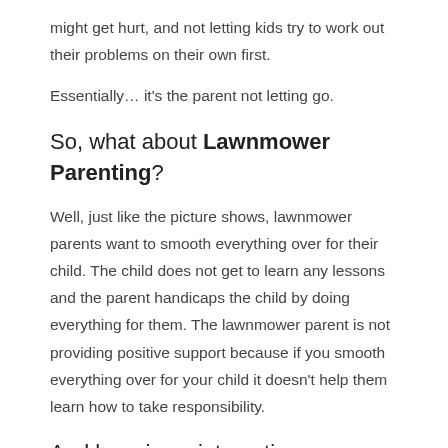might get hurt, and not letting kids try to work out their problems on their own first.
Essentially… it's the parent not letting go.
So, what about Lawnmower Parenting?
Well, just like the picture shows, lawnmower parents want to smooth everything over for their child. The child does not get to learn any lessons and the parent handicaps the child by doing everything for them. The lawnmower parent is not providing positive support because if you smooth everything over for your child it doesn't help them learn how to take responsibility.
And here is an interesting one…  Peerenting
Peerenting is when the parent tries to be best mates with their child. I have had colleagues who have said they often see this in